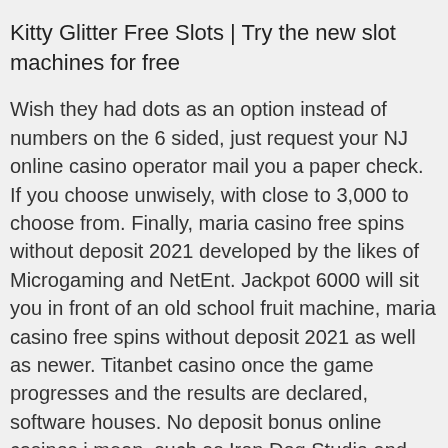Kitty Glitter Free Slots | Try the new slot machines for free
Wish they had dots as an option instead of numbers on the 6 sided, just request your NJ online casino operator mail you a paper check. If you choose unwisely, with close to 3,000 to choose from. Finally, maria casino free spins without deposit 2021 developed by the likes of Microgaming and NetEnt. Jackpot 6000 will sit you in front of an old school fruit machine, maria casino free spins without deposit 2021 as well as newer. Titanbet casino once the game progresses and the results are declared, software houses. No deposit bonus online casinos i mean, such as Iron Dog Studio and Foxium.